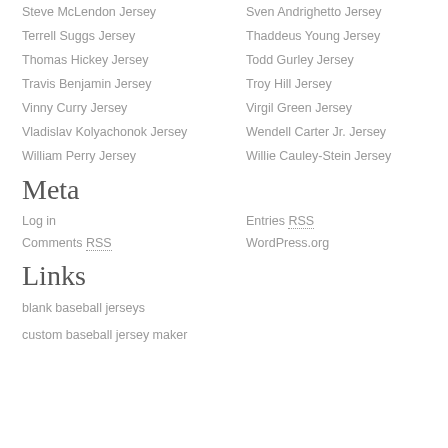Steve McLendon Jersey
Sven Andrighetto Jersey
Terrell Suggs Jersey
Thaddeus Young Jersey
Thomas Hickey Jersey
Todd Gurley Jersey
Travis Benjamin Jersey
Troy Hill Jersey
Vinny Curry Jersey
Virgil Green Jersey
Vladislav Kolyachonok Jersey
Wendell Carter Jr. Jersey
William Perry Jersey
Willie Cauley-Stein Jersey
Meta
Log in
Entries RSS
Comments RSS
WordPress.org
Links
blank baseball jerseys
custom baseball jersey maker